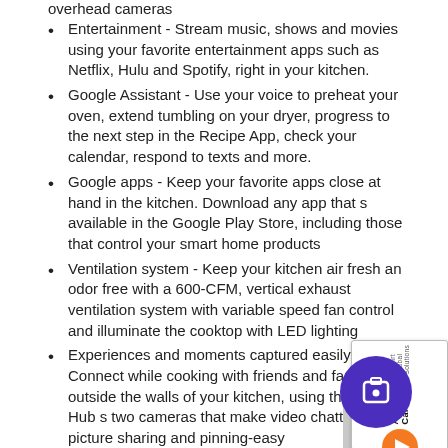overhead cameras
Entertainment - Stream music, shows and movies using your favorite entertainment apps such as Netflix, Hulu and Spotify, right in your kitchen.
Google Assistant - Use your voice to preheat your oven, extend tumbling on your dryer, progress to the next step in the Recipe App, check your calendar, respond to texts and more.
Google apps - Keep your favorite apps close at hand in the kitchen. Download any app that s available in the Google Play Store, including those that control your smart home products
Ventilation system - Keep your kitchen air fresh an odor free with a 600-CFM, vertical exhaust ventilation system with variable speed fan control and illuminate the cooktop with LED lighting
Experiences and moments captured easily - Connect while cooking with friends and family outside the walls of your kitchen, using the Kitchen Hub s two cameras that make video chatting, picture sharing and pinning-easy
Design driven venting - Effortlessly keep your kitchen fresh while cooking with the power of the